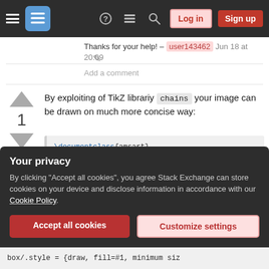Stack Exchange navigation bar with hamburger menu, logo, icons, Log in and Sign up buttons
Thanks for your help! – user143462 Jun 18 at 20:09
Add a comment
By exploiting of TikZ librariy chains your image can be drawn on much more concise way:
\documentclass{amsart}
\usepackage[dvipsnames]{xcolor}
\usepackage{tikz}
\usetikzlibrary{arrows.meta,
Your privacy
By clicking "Accept all cookies", you agree Stack Exchange can store cookies on your device and disclose information in accordance with our Cookie Policy.
Accept all cookies
Customize settings
box/.style = {draw, fill=#1, minimum siz